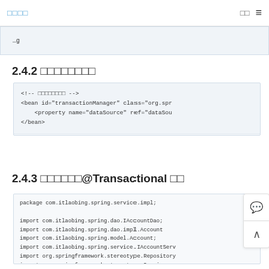□□□□   □□   ≡
...g
2.4.2 □□□□□□□□
<!-- □□□□□□□□ -->
<bean id="transactionManager" class="org.spr
     <property name="dataSource" ref="dataSou
</bean>
2.4.3 □□□□□□@Transactional □□
package com.itlaobing.spring.service.impl;

import com.itlaobing.spring.dao.IAccountDao;
import com.itlaobing.spring.dao.impl.Account
import com.itlaobing.spring.model.Account;
import com.itlaobing.spring.service.IAccountServ
import org.springframework.stereotype.Repository
import org.springframework.stereotype.Service;